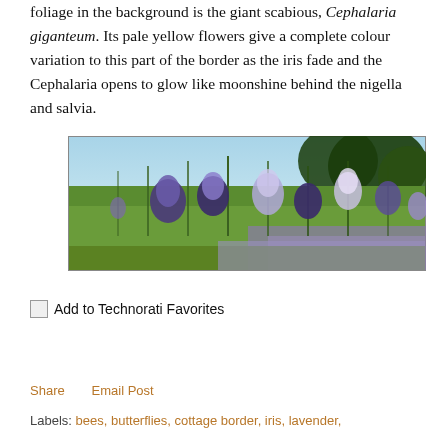foliage in the background is the giant scabious, Cephalaria giganteum. Its pale yellow flowers give a complete colour variation to this part of the border as the iris fade and the Cephalaria opens to glow like moonshine behind the nigella and salvia.
[Figure (photo): Garden photograph showing purple/lavender iris flowers with green foliage and lavender/salvia plants in the foreground, against a blue sky background.]
[Figure (other): Add to Technorati Favorites button with small icon placeholder]
Share    Email Post
Labels: bees, butterflies, cottage border, iris, lavender,